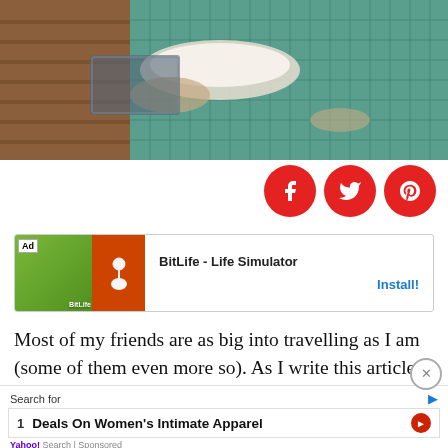[Figure (photo): Person relaxing in a hammock holding a white pillow, with wooden deck and teal/green netting visible]
[Figure (infographic): Three red circular social media share buttons: Facebook (f), Twitter (bird), Pinterest (p)]
[Figure (screenshot): Advertisement for BitLife - Life Simulator app with green foliage and orange background with sperm icon]
Most of my friends are as big into travelling as I am (some of them even more so). As I write this article, I'm sitting in my Airbnb in Weisbaden, Germany while here for m... part ... east
[Figure (screenshot): Yahoo Search sponsored overlay showing 'Search for' with result '1 Deals On Women's Intimate Apparel']